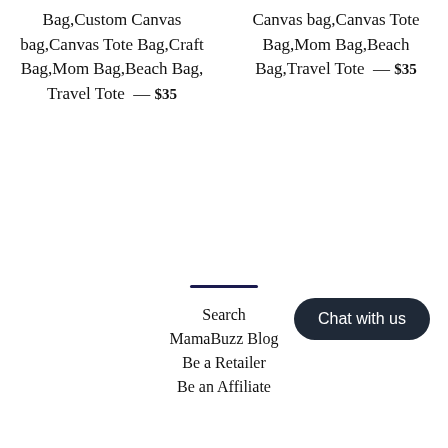Bag,Custom Canvas bag,Canvas Tote Bag,Craft Bag,Mom Bag,Beach Bag, Travel Tote — $35
Canvas bag,Canvas Tote Bag,Mom Bag,Beach Bag,Travel Tote — $35
Search
MamaBuzz Blog
Be a Retailer
Be an Affiliate
Chat with us